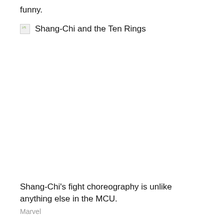funny.
[Figure (photo): Broken image placeholder with label 'Shang-Chi and the Ten Rings']
Shang-Chi's fight choreography is unlike anything else in the MCU.
Marvel
But as well as resting the big-name Avengers, the film itself is visually and narratively distinct from the rest of the franchise. Shang-Chi is Marvel's first Asian lead, and the style of the film draws on the rich history of Asian cinema, from martial arts movies to gangster films to romance, and in particular the lush visual and emotional style of wuxia epics. Like recent Disney Plus shows WandaVision and Loki, Shang-Chi